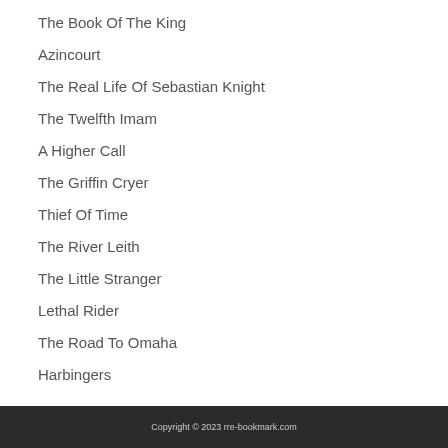The Book Of The King
Azincourt
The Real Life Of Sebastian Knight
The Twelfth Imam
A Higher Call
The Griffin Cryer
Thief Of Time
The River Leith
The Little Stranger
Lethal Rider
The Road To Omaha
Harbingers
Copyright © 2023 rre-bookmark.com